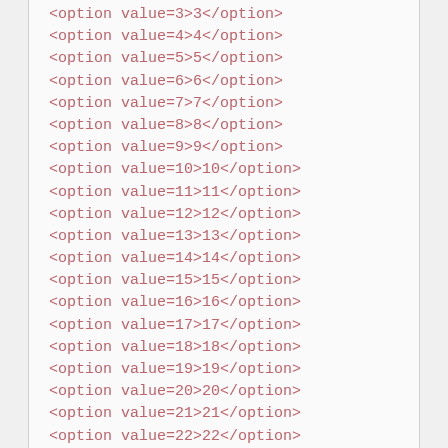<option value=3>3</option>
<option value=4>4</option>
<option value=5>5</option>
<option value=6>6</option>
<option value=7>7</option>
<option value=8>8</option>
<option value=9>9</option>
<option value=10>10</option>
<option value=11>11</option>
<option value=12>12</option>
<option value=13>13</option>
<option value=14>14</option>
<option value=15>15</option>
<option value=16>16</option>
<option value=17>17</option>
<option value=18>18</option>
<option value=19>19</option>
<option value=20>20</option>
<option value=21>21</option>
<option value=22>22</option>
<option value=23>23</option>
<option value=24>24</option>
<option value=25 selected>25</option>
<option value=26>26</option>
<option value=27>27</option>